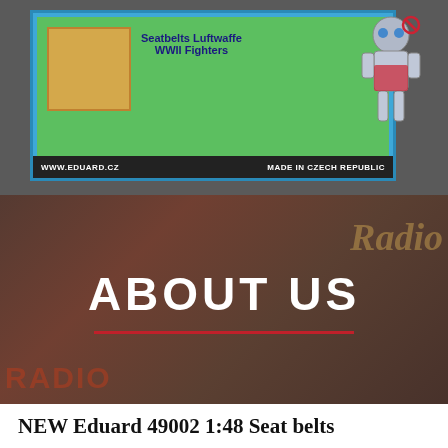[Figure (photo): Photo of Eduard 49002 1:48 Seat belts Luftwaffe WWII Fighters product packaging on gray background, showing a model kit box with blue border, green inner area, tan/gold swatch, robot mascot, and black bottom bar reading WWW.EDUARD.CZ and MADE IN CZECH REPUBLIC]
[Figure (photo): Dark banner photo of a store or display area with vintage signs including Radio text and RADIO logo in red, overlaid with large white ABOUT US heading and red underline]
[Figure (screenshot): Navigation bar with dark gray background showing backslash, G, V, and two square/bracket icons, plus a red section on right showing X with subscript 3]
NEW Eduard 49002 1:48 Seat belts